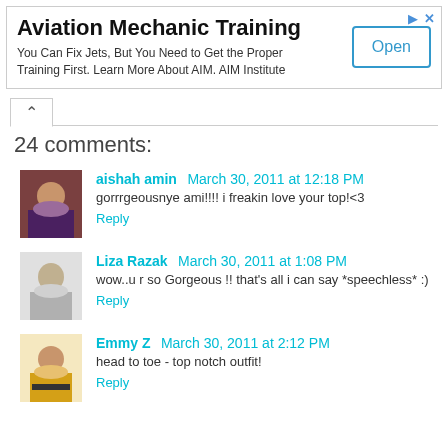[Figure (other): Advertisement banner for Aviation Mechanic Training by AIM Institute with an Open button]
24 comments:
aishah amin  March 30, 2011 at 12:18 PM
gorrrgeousnye ami!!!! i freakin love your top!<3
Reply
Liza Razak  March 30, 2011 at 1:08 PM
wow..u r so Gorgeous !! that's all i can say *speechless* :)
Reply
Emmy Z  March 30, 2011 at 2:12 PM
head to toe - top notch outfit!
Reply